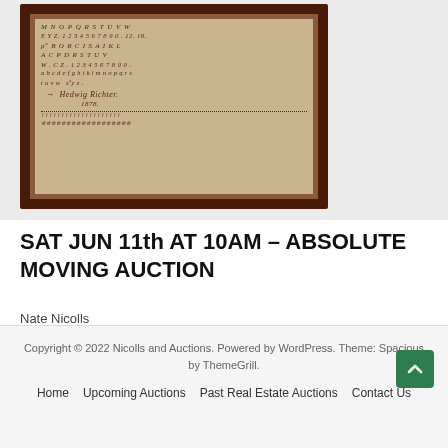[Figure (photo): A framed needlework sampler in a dark wood frame showing alphabets, numbers, and the name 'Hedwig Richter 1878' embroidered in cross-stitch on aged linen fabric.]
SAT JUN 11th AT 10AM – ABSOLUTE MOVING AUCTION
Nate Nicolls
Copyright © 2022 Nicolls and Auctions. Powered by WordPress. Theme: Spacious by ThemeGrill.
Home   Upcoming Auctions   Past Real Estate Auctions   Contact Us